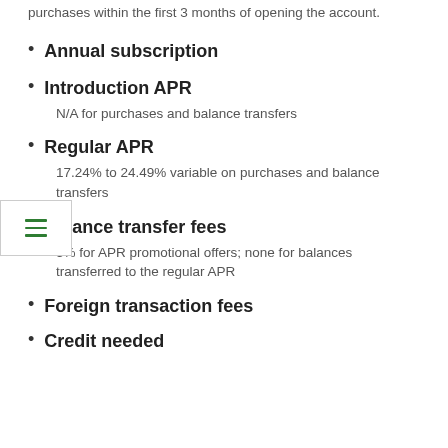purchases within the first 3 months of opening the account.
Annual subscription
Introduction APR
N/A for purchases and balance transfers
Regular APR
17.24% to 24.49% variable on purchases and balance transfers
Balance transfer fees
3% for APR promotional offers; none for balances transferred to the regular APR
Foreign transaction fees
Credit needed